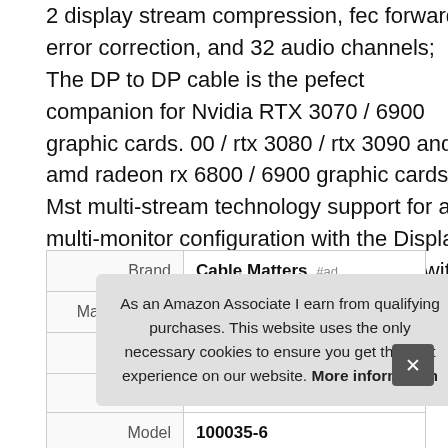2 display stream compression, fec forward error correction, and 32 audio channels; The DP to DP cable is the pefect companion for Nvidia RTX 3070 / 6900 graphic cards. 00 / rtx 3080 / rtx 3090 and amd radeon rx 6800 / 6900 graphic cards. Mst multi-stream technology support for a multi-monitor configuration with the Display Port 1. 4 cable; backwards compatible with DisplayPort 1. 2 cable and usb c to displayPort adapter for laptops with USB-C or Thunderbolt 3.
|  |  |
| --- | --- |
| Brand | Cable Matters #ad |
| Manufacturer | Cable Matters #ad |
| Height | 0.98 Inches |
| P |  |
| Model | 100035-6 |
As an Amazon Associate I earn from qualifying purchases. This website uses the only necessary cookies to ensure you get the best experience on our website. More information